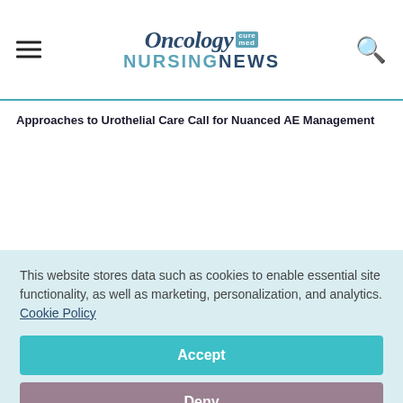Oncology Nursing News
Approaches to Urothelial Care Call for Nuanced AE Management
This website stores data such as cookies to enable essential site functionality, as well as marketing, personalization, and analytics. Cookie Policy
Accept
Deny